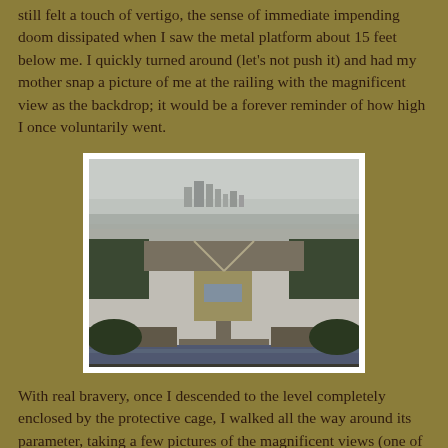still felt a touch of vertigo, the sense of immediate impending doom dissipated when I saw the metal platform about 15 feet below me. I quickly turned around (let's not push it) and had my mother snap a picture of me at the railing with the magnificent view as the backdrop; it would be a forever reminder of how high I once voluntarily went.
[Figure (photo): Aerial photograph taken from the Eiffel Tower showing a bird's-eye view of Paris, including the Trocadero gardens, the Seine River, and the city skyline in the background with tall buildings visible in the hazy distance.]
With real bravery, once I descended to the level completely enclosed by the protective cage, I walked all the way around its parameter, taking a few pictures of the magnificent views (one of my favorites pictured here), calling out to those truly